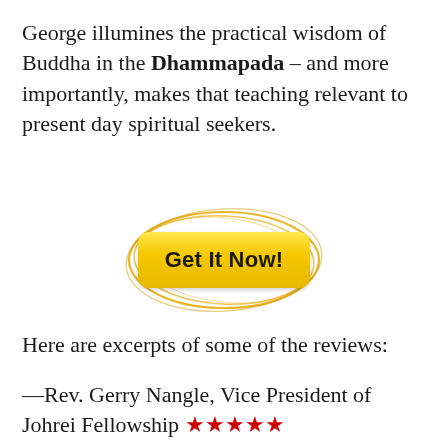George illumines the practical wisdom of Buddha in the Dhammapada – and more importantly, makes that teaching relevant to present day spiritual seekers.
[Figure (other): A yellow rounded-rectangle button labeled 'Get It Now!' surrounded by hand-drawn golden oval scribble lines]
Here are excerpts of some of the reviews:
—Rev. Gerry Nangle, Vice President of Johrei Fellowship ★★★★★